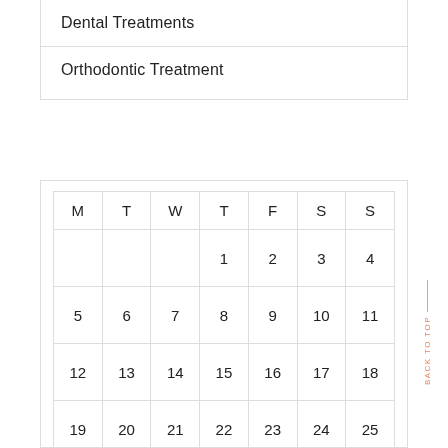Dental Treatments
Orthodontic Treatment
| M | T | W | T | F | S | S |
| --- | --- | --- | --- | --- | --- | --- |
|  |  |  | 1 | 2 | 3 | 4 |
| 5 | 6 | 7 | 8 | 9 | 10 | 11 |
| 12 | 13 | 14 | 15 | 16 | 17 | 18 |
| 19 | 20 | 21 | 22 | 23 | 24 | 25 |
| 26 | 27 | 28 | 29 | 30 |  |  |